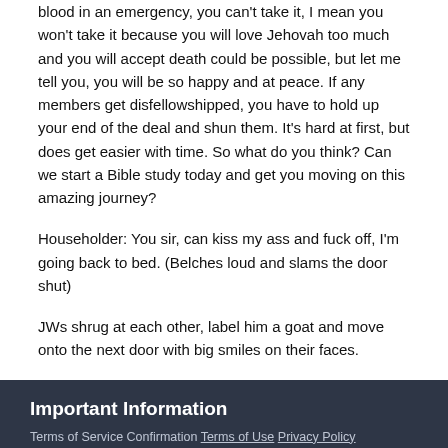blood in an emergency, you can't take it, I mean you won't take it because you will love Jehovah too much and you will accept death could be possible, but let me tell you, you will be so happy and at peace. If any members get disfellowshipped, you have to hold up your end of the deal and shun them. It's hard at first, but does get easier with time. So what do you think? Can we start a Bible study today and get you moving on this amazing journey?
Householder: You sir, can kiss my ass and fuck off, I'm going back to bed. (Belches loud and slams the door shut)
JWs shrug at each other, label him a goat and move onto the next door with big smiles on their faces.
Important Information
Terms of Service Confirmation Terms of Use Privacy Policy Guidelines We have placed cookies on your device to help make this website better. You can adjust your cookie settings, otherwise we'll assume you're okay to continue.
0 SHARES